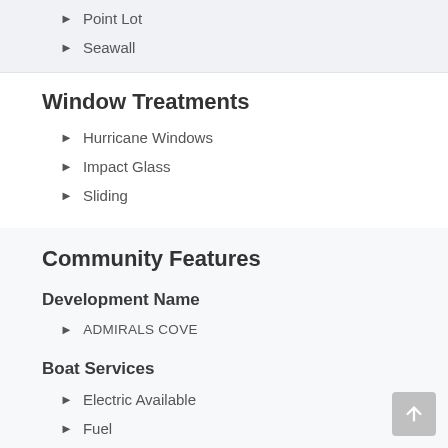Point Lot
Seawall
Window Treatments
Hurricane Windows
Impact Glass
Sliding
Community Features
Development Name
ADMIRALS COVE
Boat Services
Electric Available
Fuel
Full Service